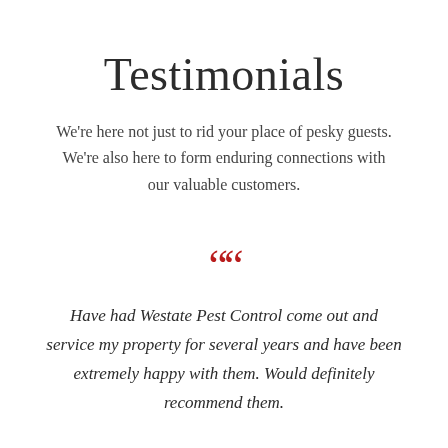Testimonials
We're here not just to rid your place of pesky guests. We're also here to form enduring connections with our valuable customers.
““
Have had Westate Pest Control come out and service my property for several years and have been extremely happy with them. Would definitely recommend them.